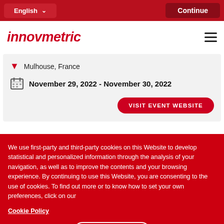English | Continue
[Figure (logo): Innovmetric logo in red italic bold text with hamburger menu icon]
Mulhouse, France
November 29, 2022 - November 30, 2022
VISIT EVENT WEBSITE
We use first-party and third-party cookies on this Website to develop statistical and personalized information through the analysis of your navigation, as well as to improve the contents and your browsing experience. By continuing to use this Website, you are consenting to the use of cookies. To find out more or to know how to set your own preferences, click on our
Cookie Policy
ACCEPT